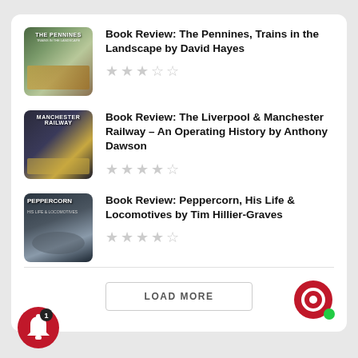Book Review: The Pennines, Trains in the Landscape by David Hayes — 3 stars out of 5
Book Review: The Liverpool & Manchester Railway – An Operating History by Anthony Dawson — 3.5 stars out of 5
Book Review: Peppercorn, His Life & Locomotives by Tim Hillier-Graves — 3.5 stars out of 5
LOAD MORE
[Figure (illustration): Red circular chat bubble icon with green online indicator dot]
[Figure (illustration): Red circular notification bell icon with badge showing number 1]